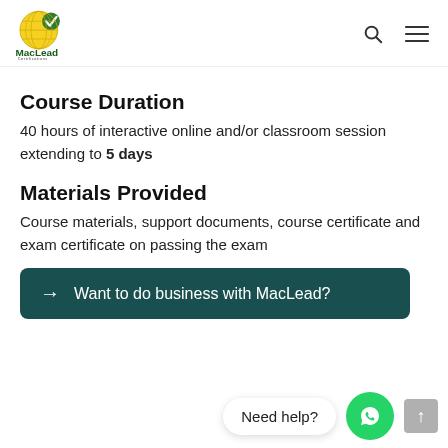MacLead Certifications
Course Duration
40 hours of interactive online and/or classroom session extending to 5 days
Materials Provided
Course materials, support documents, course certificate and exam certificate on passing the exam
→ Want to do business with MacLead?
Need help?